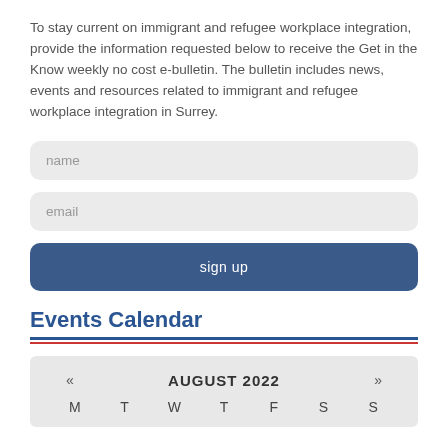To stay current on immigrant and refugee workplace integration, provide the information requested below to receive the Get in the Know weekly no cost e-bulletin. The bulletin includes news, events and resources related to immigrant and refugee workplace integration in Surrey.
name
email
sign up
Events Calendar
[Figure (other): Events Calendar widget showing August 2022 with navigation arrows and day headers M T W T F S S]